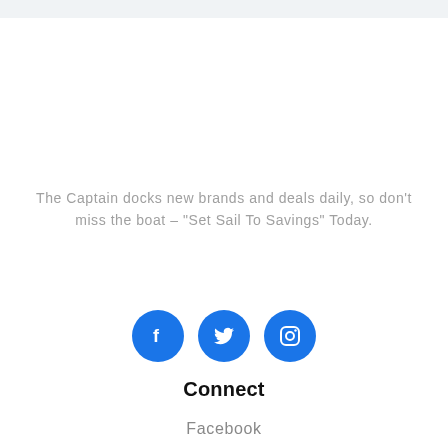The Captain docks new brands and deals daily, so don't miss the boat – "Set Sail To Savings" Today.
[Figure (illustration): Three circular blue social media icons in a row: Facebook (f), Twitter (bird), Instagram (camera outline)]
Connect
Facebook